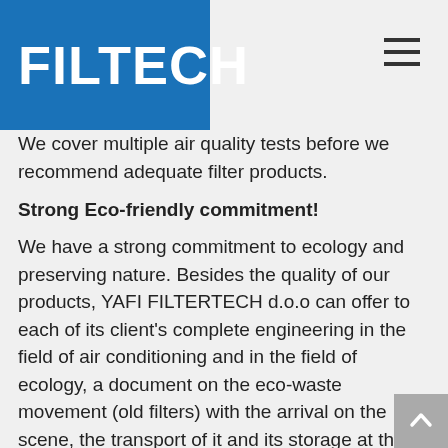FILTECH
We cover multiple air quality tests before we recommend adequate filter products.
Strong Eco-friendly commitment!
We have a strong commitment to ecology and preserving nature. Besides the quality of our products, YAFI FILTERTECH d.o.o can offer to each of its client's complete engineering in the field of air conditioning and in the field of ecology, a document on the eco-waste movement (old filters) with the arrival on the scene, the transport of it and its storage at the landfill accompanied by eco inspection.
While visiting numerous international factories